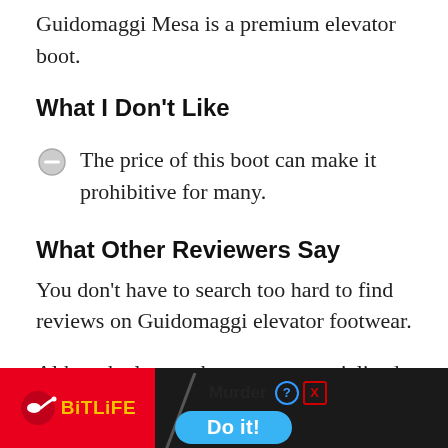Guidomaggi Mesa is a premium elevator boot.
What I Don't Like
The price of this boot can make it prohibitive for many.
What Other Reviewers Say
You don't have to search too hard to find reviews on Guidomaggi elevator footwear.
Although elevator boots are a specialized niche marke... high-end a...
[Figure (other): BitLife advertisement banner with 'Murder - Do it!' call to action button]